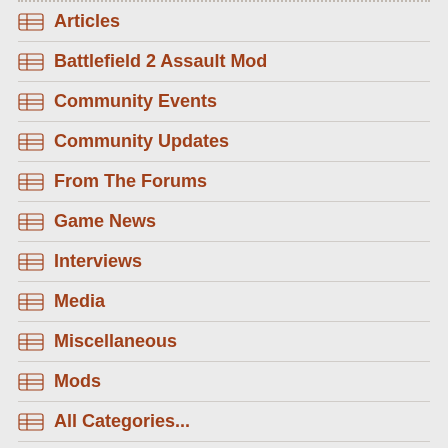Articles
Battlefield 2 Assault Mod
Community Events
Community Updates
From The Forums
Game News
Interviews
Media
Miscellaneous
Mods
All Categories...
SHARE THIS GAME